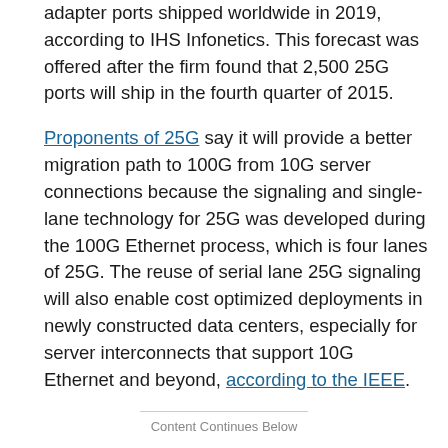adapter ports shipped worldwide in 2019, according to IHS Infonetics. This forecast was offered after the firm found that 2,500 25G ports will ship in the fourth quarter of 2015.
Proponents of 25G say it will provide a better migration path to 100G from 10G server connections because the signaling and single-lane technology for 25G was developed during the 100G Ethernet process, which is four lanes of 25G. The reuse of serial lane 25G signaling will also enable cost optimized deployments in newly constructed data centers, especially for server interconnects that support 10G Ethernet and beyond, according to the IEEE.
Content Continues Below